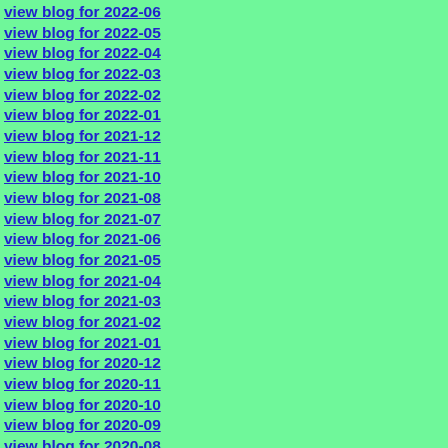view blog for 2022-06
view blog for 2022-05
view blog for 2022-04
view blog for 2022-03
view blog for 2022-02
view blog for 2022-01
view blog for 2021-12
view blog for 2021-11
view blog for 2021-10
view blog for 2021-08
view blog for 2021-07
view blog for 2021-06
view blog for 2021-05
view blog for 2021-04
view blog for 2021-03
view blog for 2021-02
view blog for 2021-01
view blog for 2020-12
view blog for 2020-11
view blog for 2020-10
view blog for 2020-09
view blog for 2020-08
view blog for 2020-07
view blog for 2020-06
view blog for 2020-05